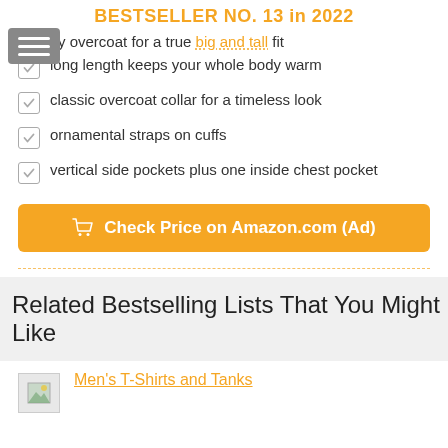BESTSELLER NO. 13 in 2022
Roomy overcoat for a true big and tall fit
long length keeps your whole body warm
classic overcoat collar for a timeless look
ornamental straps on cuffs
vertical side pockets plus one inside chest pocket
Check Price on Amazon.com (Ad)
Related Bestselling Lists That You Might Like
Men's T-Shirts and Tanks